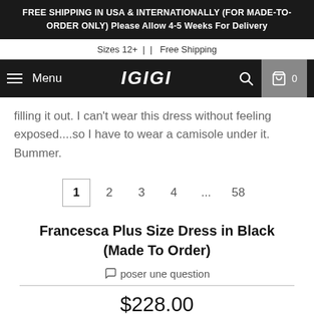FREE SHIPPING IN USA & INTERNATIONALLY (FOR MADE-TO-ORDER ONLY) Please Allow 4-5 Weeks For Delivery
Sizes 12+  |  |  Free Shipping
[Figure (screenshot): Navigation bar with hamburger menu, Menu text, IGIGI logo, search icon, and cart icon with 0]
filling it out. I can't wear this dress without feeling exposed....so I have to wear a camisole under it. Bummer.
1  2  3  4  ...  58
Francesca Plus Size Dress in Black (Made To Order)
poser une question
$228.00